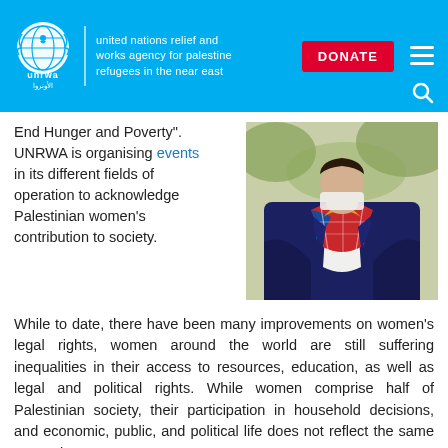united nations relief and works agency for palestine refugees in the near east | DONATE
End Hunger and Poverty". UNRWA is organising events in its different fields of operation to acknowledge Palestinian women’s contribution to society.
[Figure (photo): Close-up photograph of a person wearing a dark navy blazer with a colorful patterned scarf]
While to date, there have been many improvements on women’s legal rights, women around the world are still suffering inequalities in their access to resources, education, as well as legal and political rights. While women comprise half of Palestinian society, their participation in household decisions, and economic, public, and political life does not reflect the same proportion.
UNRWA has been actively working on changing the situation of Palestine refugee men and women. The adoption of UNRWA’s Gender Policy is a step towards the improvement